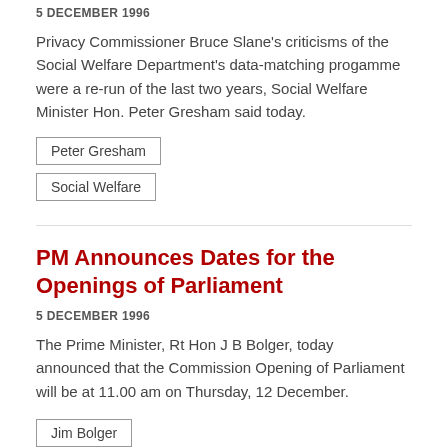5 DECEMBER 1996
Privacy Commissioner Bruce Slane's criticisms of the Social Welfare Department's data-matching progamme were a re-run of the last two years, Social Welfare Minister Hon. Peter Gresham said today.
Peter Gresham
Social Welfare
PM Announces Dates for the Openings of Parliament
5 DECEMBER 1996
The Prime Minister, Rt Hon J B Bolger, today announced that the Commission Opening of Parliament will be at 11.00 am on Thursday, 12 December.
Jim Bolger